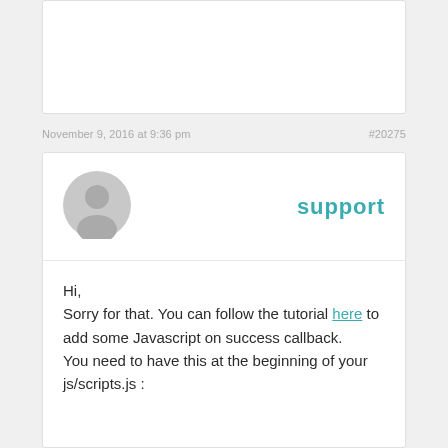November 9, 2016 at 9:36 pm
#20275
[Figure (illustration): Default user avatar icon — grey circle with silhouette of person]
support
Hi,
Sorry for that. You can follow the tutorial here to add some Javascript on success callback.
You need to have this at the beginning of your js/scripts.js :